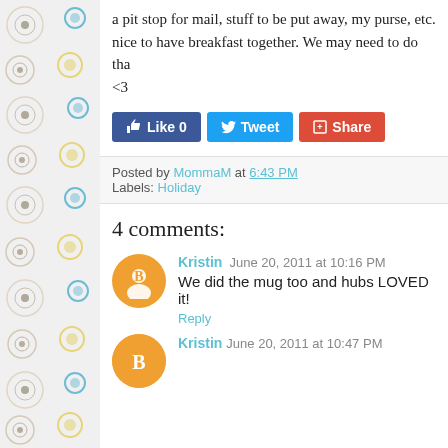a pit stop for mail, stuff to be put away, my purse, etc. nice to have breakfast together. We may need to do tha <3
[Figure (screenshot): Social sharing buttons: Like 0 (Facebook), Tweet (Twitter), Share (Google+)]
Posted by MommaM at 6:43 PM
Labels: Holiday
4 comments:
Kristin  June 20, 2011 at 10:16 PM
We did the mug too and hubs LOVED it!
Reply